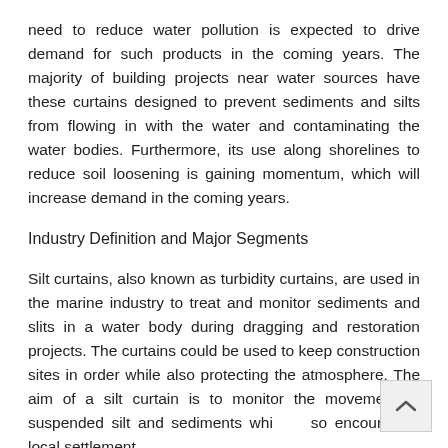need to reduce water pollution is expected to drive demand for such products in the coming years. The majority of building projects near water sources have these curtains designed to prevent sediments and silts from flowing in with the water and contaminating the water bodies. Furthermore, its use along shorelines to reduce soil loosening is gaining momentum, which will increase demand in the coming years.
Industry Definition and Major Segments
Silt curtains, also known as turbidity curtains, are used in the marine industry to treat and monitor sediments and slits in a water body during dragging and restoration projects. The curtains could be used to keep construction sites in order while also protecting the atmosphere. The aim of a silt curtain is to monitor the movement of suspended silt and sediments while also encouraging local settlement.